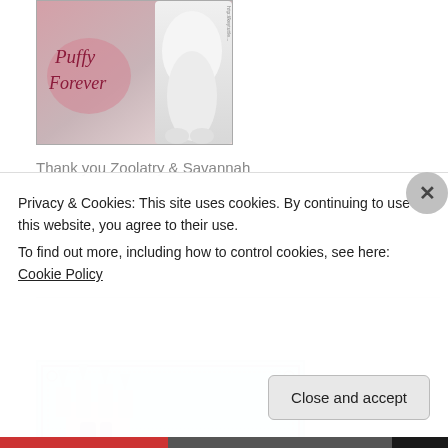[Figure (illustration): Decorative image with pink/beige background showing a white fluffy cat and text reading 'Puffy Forever' in cursive script]
Thank you Zoolatry & Savannah
[Figure (illustration): Decorative image with light blue border showing a black dog and black cat with a pink castle in the background]
Privacy & Cookies: This site uses cookies. By continuing to use this website, you agree to their use.
To find out more, including how to control cookies, see here: Cookie Policy
Close and accept